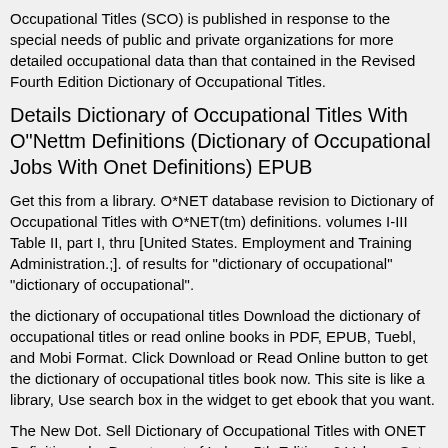Occupational Titles (SCO) is published in response to the special needs of public and private organizations for more detailed occupational data than that contained in the Revised Fourth Edition Dictionary of Occupational Titles.
Details Dictionary of Occupational Titles With O"Nettm Definitions (Dictionary of Occupational Jobs With Onet Definitions) EPUB
Get this from a library. O*NET database revision to Dictionary of Occupational Titles with O*NET(tm) definitions. volumes I-III Table II, part I, thru [United States. Employment and Training Administration.;]. of results for "dictionary of occupational" "dictionary of occupational".
the dictionary of occupational titles Download the dictionary of occupational titles or read online books in PDF, EPUB, Tuebl, and Mobi Format. Click Download or Read Online button to get the dictionary of occupational titles book now. This site is like a library, Use search box in the widget to get ebook that you want.
The New Dot. Sell Dictionary of Occupational Titles with ONET Definitions, by Department of Labor, 5th Edition, 2 Volume Set ISBN. Ship for free. Bookbyte. Got this from a library.